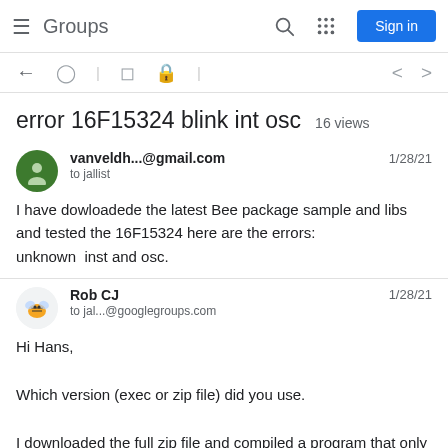Groups  Sign in
error 16F15324 blink int osc   16 views
vanveldh...@gmail.com   1/28/21
to jallist
I have dowloadede the latest Bee package sample and libs and tested the 16F15324 here are the errors:
unknown  inst and osc.
Rob CJ   1/28/21
to jal...@googlegroups.com
Hi Hans,

Which version (exec or zip file) did you use.

I downloaded the full zip file and compiled a program that only included the 16f15234 and got no compiler errors.